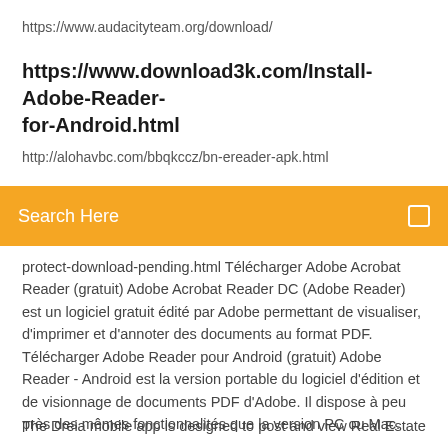https://www.audacityteam.org/download/
https://www.download3k.com/Install-Adobe-Reader-for-Android.html
http://alohavbc.com/bbqkccz/bn-ereader-apk.html
Search Here
protect-download-pending.html Télécharger Adobe Acrobat Reader (gratuit) Adobe Acrobat Reader DC (Adobe Reader) est un logiciel gratuit édité par Adobe permettant de visualiser, d'imprimer et d'annoter des documents au format PDF. Télécharger Adobe Reader pour Android (gratuit) Adobe Reader - Android est la version portable du logiciel d'édition et de visionnage de documents PDF d'Adobe. Il dispose à peu près des mêmes fonctionnalités que la version PC ou Mac.
The Dreia mobile app is designed to post and view Real Estate